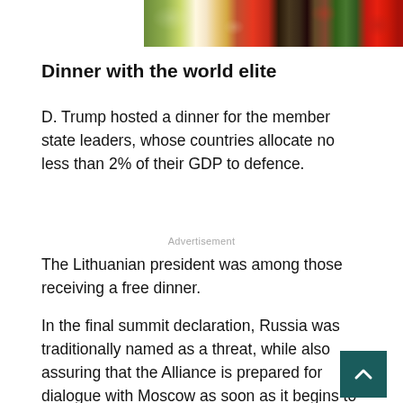[Figure (photo): Partial photo strip at top right showing food items including tomatoes, berries, and vegetables on dark background]
Dinner with the world elite
D. Trump hosted a dinner for the member state leaders, whose countries allocate no less than 2% of their GDP to defence.
Advertisement
The Lithuanian president was among those receiving a free dinner.
In the final summit declaration, Russia was traditionally named as a threat, while also assuring that the Alliance is prepared for dialogue with Moscow as soon as it begins to change its aggressive behaviour.